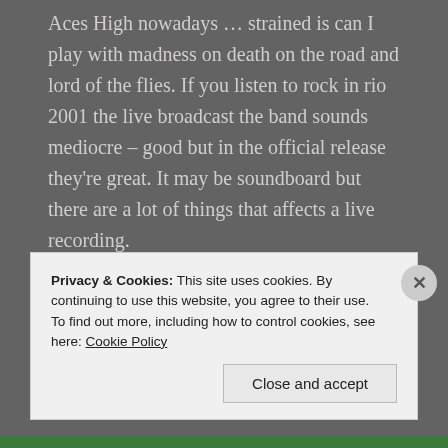Aces High nowadays ... strained is can I play with madness on death on the road and lord of the flies. If you listen to rock in rio 2001 the live broadcast the band sounds mediocre – good but in the official release they're great. It may be soundboard but there are a lot of things that affects a live recording.
REPLY
Privacy & Cookies: This site uses cookies. By continuing to use this website, you agree to their use.
To find out more, including how to control cookies, see here: Cookie Policy